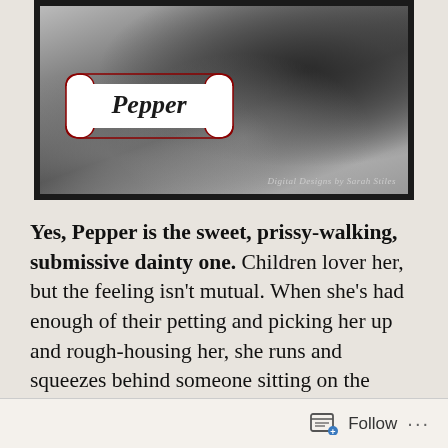[Figure (photo): Black and white close-up photo of a dog (Pepper) lying down, with a dog-bone shaped label overlay reading 'Pepper' in cursive script. Watermark reads 'Digital Designs by Sarah Stiles'.]
Yes, Pepper is the sweet, prissy-walking, submissive dainty one. Children lover her, but the feeling isn't mutual. When she's had enough of their petting and picking her up and rough-housing her, she runs and squeezes behind someone sitting on the couch. She's just not the cute little play toy they think she is.
Follow ...